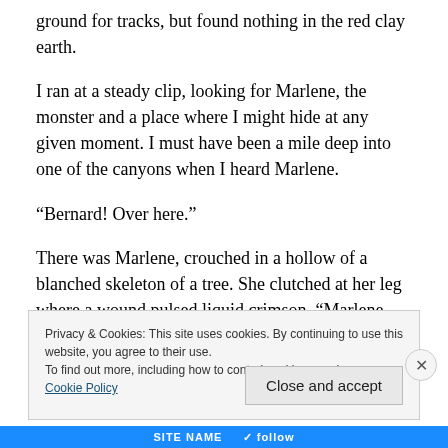ground for tracks, but found nothing in the red clay earth.
I ran at a steady clip, looking for Marlene, the monster and a place where I might hide at any given moment. I must have been a mile deep into one of the canyons when I heard Marlene.
“Bernard! Over here.”
There was Marlene, crouched in a hollow of a blanched skeleton of a tree. She clutched at her leg where a wound pulsed liquid crimson. “Marlene, she bit you?”
Privacy & Cookies: This site uses cookies. By continuing to use this website, you agree to their use.
To find out more, including how to control cookies, see here: Cookie Policy
Close and accept